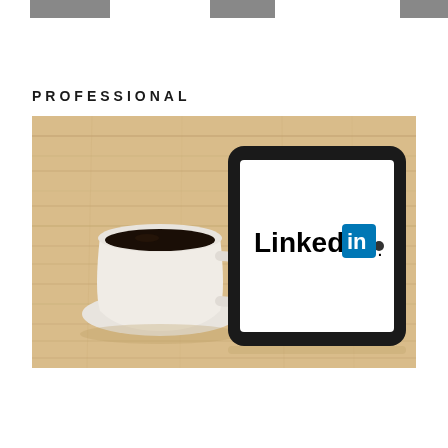[Figure (illustration): Top decorative strip with three gray rectangular blocks on white background, resembling partial geometric shapes at page top]
PROFESSIONAL
[Figure (photo): Overhead photo of a tablet displaying the LinkedIn logo and a white coffee cup with black coffee, both placed on a light wood surface]